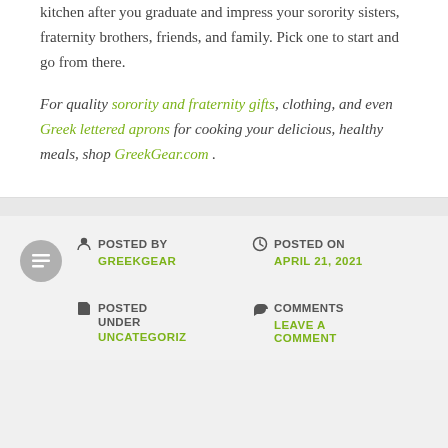kitchen after you graduate and impress your sorority sisters, fraternity brothers, friends, and family. Pick one to start and go from there.
For quality sorority and fraternity gifts, clothing, and even Greek lettered aprons for cooking your delicious, healthy meals, shop GreekGear.com .
POSTED BY GREEKGEAR | POSTED ON APRIL 21, 2021 | POSTED UNDER UNCATEGORIZ | COMMENTS LEAVE A COMMENT